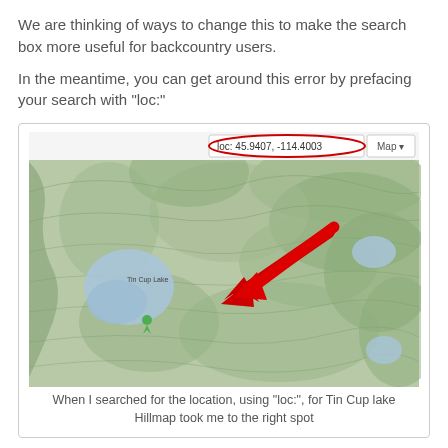We are thinking of ways to change this to make the search box more useful for backcountry users.
In the meantime, you can get around this error by prefacing your search with "loc:"
[Figure (screenshot): A topographic hillshade map screenshot showing Tin Cup Lake area. A red arrow points to a location on the map. The search bar at the top shows 'loc: 45.9407, -114.4003' circled in red. A 'Map' button is visible in the top right of the map interface. A green map pin is visible near 'Tin Cup Lake' label.]
When I searched for the location, using "loc:", for Tin Cup lake Hillmap took me to the right spot
For example, when I search for Tin Cup Lake by its